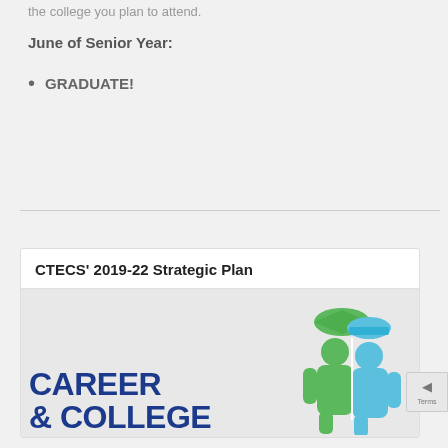the college you plan to attend.
June of Senior Year:
GRADUATE!
CTECS' 2019-22 Strategic Plan
[Figure (logo): Career & College logo with a figure wearing a graduation cap and hard hat, half green half blue]